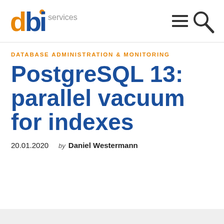[Figure (logo): dbi services logo with orange 'd', blue 'b', orange dot and 'i', followed by grey 'services' text]
[Figure (other): Navigation icons: hamburger menu and magnifying glass search icon]
DATABASE ADMINISTRATION & MONITORING
PostgreSQL 13: parallel vacuum for indexes
20.01.2020   by Daniel Westermann